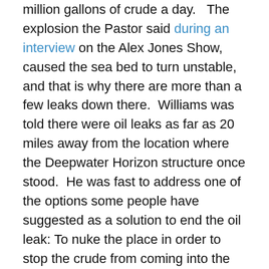million gallons of crude a day.   The explosion the Pastor said during an interview on the Alex Jones Show, caused the sea bed to turn unstable, and that is why there are more than a few leaks down there.  Williams was told there were oil leaks as far as 20 miles away from the location where the Deepwater Horizon structure once stood.  He was fast to address one of the options some people have suggested as a solution to end the oil leak: To nuke the place in order to stop the crude from coming into the Gulf's waters.  He said his source confessed this may be the only option to stop the disaster once and for all, but that given the degree of difficulty of such operation, there was a big enough chance the explosion of a nuclear device would make the problem worse.  If not done correctly and precisely, the explosion could further destabilize the well and cause a major collapse that would release greater amounts of oil which could not be stopped